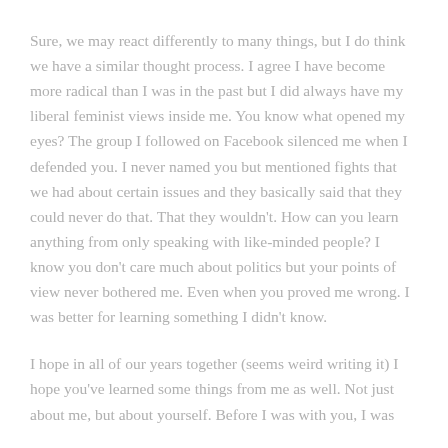Sure, we may react differently to many things, but I do think we have a similar thought process. I agree I have become more radical than I was in the past but I did always have my liberal feminist views inside me. You know what opened my eyes? The group I followed on Facebook silenced me when I defended you. I never named you but mentioned fights that we had about certain issues and they basically said that they could never do that. That they wouldn't. How can you learn anything from only speaking with like-minded people? I know you don't care much about politics but your points of view never bothered me. Even when you proved me wrong. I was better for learning something I didn't know.
I hope in all of our years together (seems weird writing it) I hope you've learned some things from me as well. Not just about me, but about yourself. Before I was with you, I was